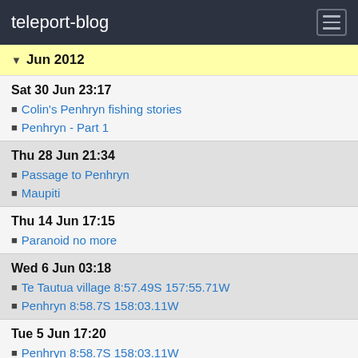teleport-blog
Jun 2012
Sat 30 Jun 23:17
Colin's Penhryn fishing stories
Penhryn - Part 1
Thu 28 Jun 21:34
Passage to Penhryn
Maupiti
Thu 14 Jun 17:15
Paranoid no more
Wed 6 Jun 03:18
Te Tautua village 8:57.49S 157:55.71W
Penhryn 8:58.7S 158:03.11W
Tue 5 Jun 17:20
Penhryn 8:58.7S 158:03.11W
Mon 4 Jun 17:32
Night 4